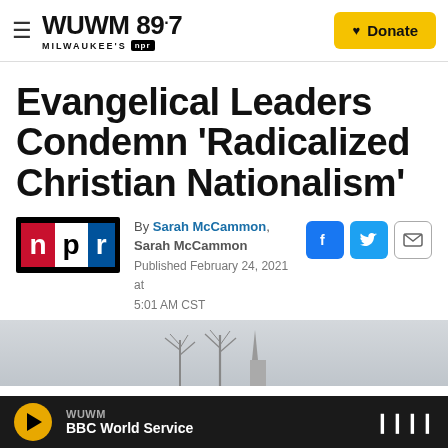WUWM 89.7 Milwaukee's NPR — Donate
Evangelical Leaders Condemn 'Radicalized Christian Nationalism'
[Figure (logo): NPR logo with red N, white P, blue R]
By Sarah McCammon, Sarah McCammon
Published February 24, 2021 at 5:01 AM CST
[Figure (photo): Outdoor winter scene with bare trees against a grey sky]
WUWM BBC World Service (player bar)